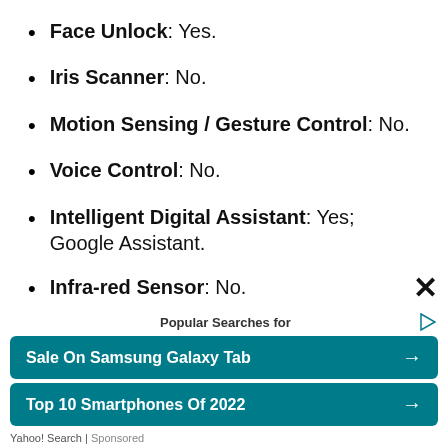Face Unlock: Yes.
Iris Scanner: No.
Motion Sensing / Gesture Control: No.
Voice Control: No.
Intelligent Digital Assistant: Yes; Google Assistant.
Infra-red Sensor: No.
Conn
[Figure (screenshot): Ad overlay showing 'Popular Searches for' header with a close X button, two teal search result buttons ('Sale On Samsung Galaxy Tab' and 'Top 10 Smartphones Of 2022'), and a 'Yahoo! Search | Sponsored' footer.]